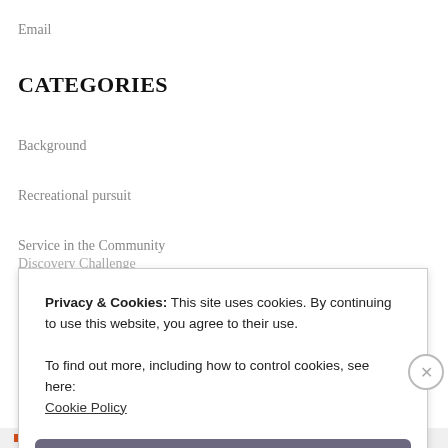Email
CATEGORIES
Background
Recreational pursuit
Service in the Community
Discovery Challenge
Privacy & Cookies: This site uses cookies. By continuing to use this website, you agree to their use.
To find out more, including how to control cookies, see here:
Cookie Policy
Close and accept